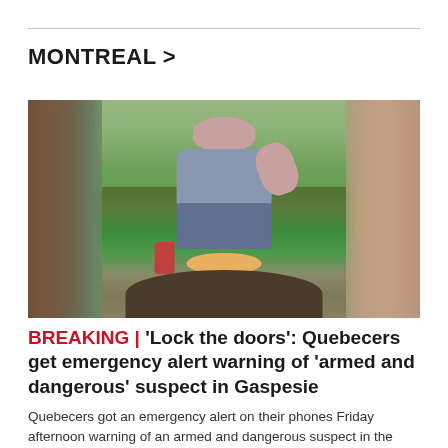MONTREAL >
[Figure (photo): A bald man sitting outdoors in a chair giving a thumbs up, with food on a table in front of him. The sides of the image are blurred.]
BREAKING | 'Lock the doors': Quebecers get emergency alert warning of 'armed and dangerous' suspect in Gaspesie
Quebecers got an emergency alert on their phones Friday afternoon warning of an armed and dangerous suspect in the